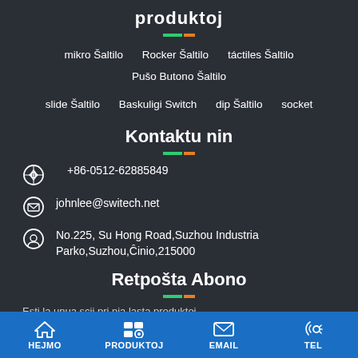produktoj
mikro Šaltilo   Rocker Šaltilo   táctiles Šaltilo   Pušo Butono Šaltilo
slide Šaltilo   Baskuligi Switch   dip Šaltilo   socket
Kontaktu nin
+86-0512-62885849
johnlee@switech.net
No.225, Su Hong Road,Suzhou Industria Parko,Suzhou,Ĉinio,215000
Retpošta Abono
Esti la unua scii pri nia lasta produktoj
HEJMO   PRODUKTOJ   EMAIL   TEL